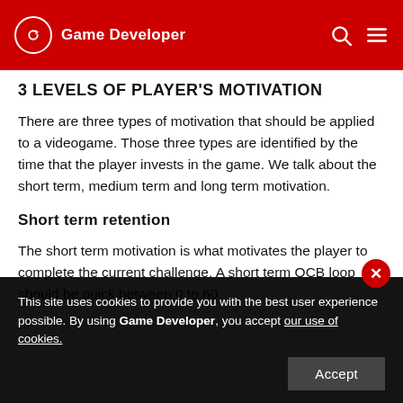Game Developer
3 LEVELS OF PLAYER'S MOTIVATION
There are three types of motivation that should be applied to a videogame. Those three types are identified by the time that the player invests in the game. We talk about the short term, medium term and long term motivation.
Short term retention
The short term motivation is what motivates the player to complete the current challenge. A short term OCB loop should be quick between 0 to 60
This site uses cookies to provide you with the best user experience possible. By using Game Developer, you accept our use of cookies.